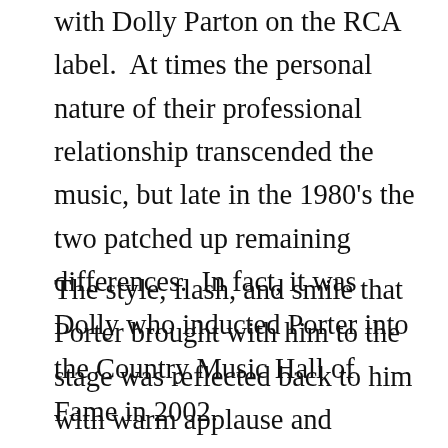with Dolly Parton on the RCA label.  At times the personal nature of their professional relationship transcended the music, but late in the 1980's the two patched up remaining differences.  In fact, it was Dolly who inducted Porter into the Country Music Hall of Fame in 2002.
The style, flash, and smile that Porter brought with him to the stage was reflected back to him with warm applause and appreciation night after night on the Opry stage, and other venues around the nation.  When he appeared in Wisconsin about 15 years ago he bounded on the stage wearing one of his famous Nudie suits that